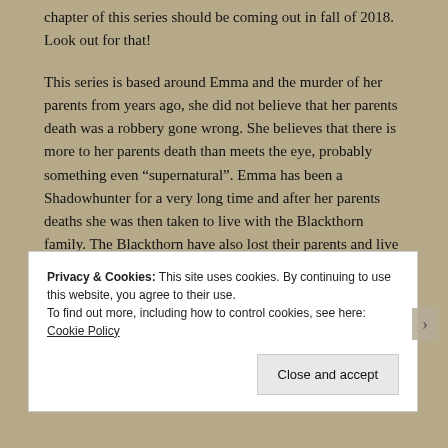chapter of this series should be coming out in fall of 2018. Look out for that!
This series is based around Emma and the murder of her parents from years ago, she did not believe that her parents death was a robbery gone wrong. She believes that there is more to her parents death than meets the eye, probably something even “supernatural”. Emma has been a Shadowhunter for a very long time and after her parents deaths she was then taken to live with the Blackthorn family. The Blackthorn have also lost their parents and live in the Institute with their strange Uncle Arthur.
Privacy & Cookies: This site uses cookies. By continuing to use this website, you agree to their use.
To find out more, including how to control cookies, see here: Cookie Policy
Close and accept